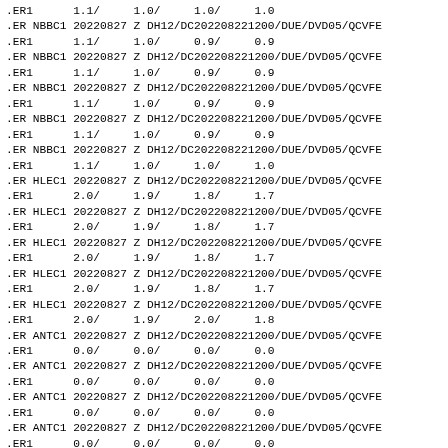.ER1      1.1/     1.0/     1.0/     1.0
.ER NBBC1 20220827 Z DH12/DC202208221200/DUE/DVD05/QCVFE
.ER1      1.1/     1.0/     0.9/     0.9
.ER NBBC1 20220827 Z DH12/DC202208221200/DUE/DVD05/QCVFE
.ER1      1.1/     1.0/     0.9/     0.9
.ER NBBC1 20220827 Z DH12/DC202208221200/DUE/DVD05/QCVFE
.ER1      1.1/     1.0/     0.9/     0.9
.ER NBBC1 20220827 Z DH12/DC202208221200/DUE/DVD05/QCVFE
.ER1      1.1/     1.0/     0.9/     0.9
.ER NBBC1 20220827 Z DH12/DC202208221200/DUE/DVD05/QCVFE
.ER1      1.1/     1.0/     1.0/     1.0
.ER HLEC1 20220827 Z DH12/DC202208221200/DUE/DVD05/QCVFE
.ER1      2.0/     1.9/     1.8/     1.7
.ER HLEC1 20220827 Z DH12/DC202208221200/DUE/DVD05/QCVFE
.ER1      2.0/     1.9/     1.8/     1.7
.ER HLEC1 20220827 Z DH12/DC202208221200/DUE/DVD05/QCVFE
.ER1      2.0/     1.9/     1.8/     1.7
.ER HLEC1 20220827 Z DH12/DC202208221200/DUE/DVD05/QCVFE
.ER1      2.0/     1.9/     1.8/     1.7
.ER HLEC1 20220827 Z DH12/DC202208221200/DUE/DVD05/QCVFE
.ER1      2.0/     1.9/     2.0/     1.8
.ER ANTC1 20220827 Z DH12/DC202208221200/DUE/DVD05/QCVFE
.ER1      0.0/     0.0/     0.0/     0.0
.ER ANTC1 20220827 Z DH12/DC202208221200/DUE/DVD05/QCVFE
.ER1      0.0/     0.0/     0.0/     0.0
.ER ANTC1 20220827 Z DH12/DC202208221200/DUE/DVD05/QCVFE
.ER1      0.0/     0.0/     0.0/     0.0
.ER ANTC1 20220827 Z DH12/DC202208221200/DUE/DVD05/QCVFE
.ER1      0.0/     0.0/     0.0/     0.0
.ER ANTC1 20220827 Z DH12/DC202208221200/DUE/DVD05/QCVFE
.ER1      0.0/     0.0/     0.0/     0.0